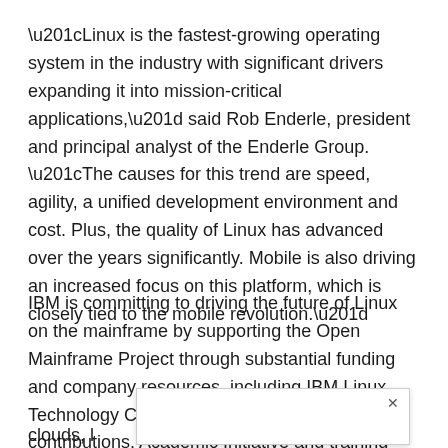“Linux is the fastest-growing operating system in the industry with significant drivers expanding it into mission-critical applications,” said Rob Enderle, president and principal analyst of the Enderle Group. “The causes for this trend are speed, agility, a unified development environment and cost. Plus, the quality of Linux has advanced over the years significantly. Mobile is also driving an increased focus on this platform, which is closely tied to the mobile revolution.”
IBM is committing to driving the future of Linux on the mainframe by supporting the Open Mainframe Project through substantial funding and company resources, including IBM Linux Technology Centers, open-source community contributions, Academic Initiative and training programs, clouds, ...